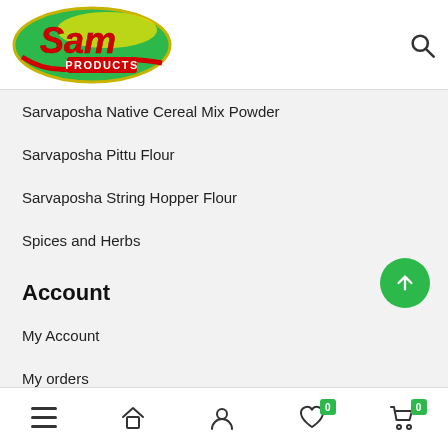Sam Products logo and search icon
Sarvaposha Native Cereal Mix Powder
Sarvaposha Pittu Flour
Sarvaposha String Hopper Flour
Spices and Herbs
Account
My Account
My orders
Returns
Shipping
Wishlist
Menu | Home | Account | Wishlist (0) | Cart (0)